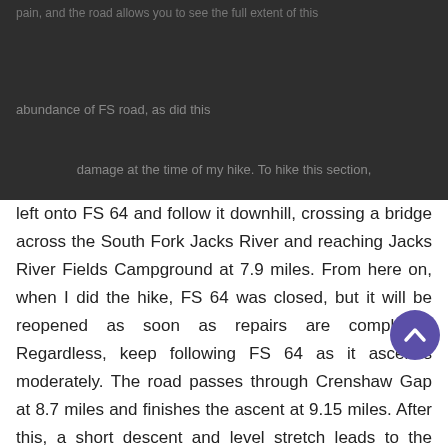HIKING THE APPALACHIANS AND BEYOND
left onto FS 64 and follow it downhill, crossing a bridge across the South Fork Jacks River and reaching Jacks River Fields Campground at 7.9 miles. From here on, when I did the hike, FS 64 was closed, but it will be reopened as soon as repairs are completed. Regardless, keep following FS 64 as it ascends moderately. The road passes through Crenshaw Gap at 8.7 miles and finishes the ascent at 9.15 miles. After this, a short descent and level stretch leads to the Buddy Cove Gap Trailhead at 9.7 miles. In the gap, a sign points the Pinhoti Trail as it leaves to the left in conjunction with the Mountaintown Creek Trail, that is the opposite direction of the Pinhoti - southbound into the Crenshaw Branch and Mountaintown Creek valleys. A few feet farther, two forest roads leave to